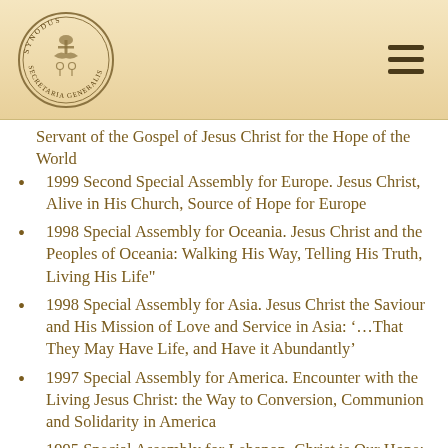Synodus Secretaria Generalis
Servant of the Gospel of Jesus Christ for the Hope of the World
1999 Second Special Assembly for Europe. Jesus Christ, Alive in His Church, Source of Hope for Europe
1998 Special Assembly for Oceania. Jesus Christ and the Peoples of Oceania: Walking His Way, Telling His Truth, Living His Life"
1998 Special Assembly for Asia. Jesus Christ the Saviour and His Mission of Love and Service in Asia: '...That They May Have Life, and Have it Abundantly'
1997 Special Assembly for America. Encounter with the Living Jesus Christ: the Way to Conversion, Communion and Solidarity in America
1995 Special Assembly for Lebanon. Christ is Our Hope: Renewed by His Spirit, in Solidarity We Bear Witness to His Love
1994 Ninth Ordinary General Assembly. The Consecrated